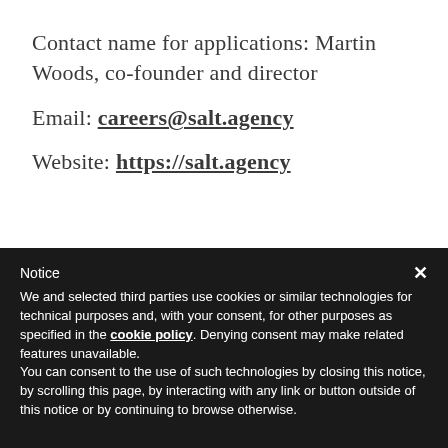Contact name for applications: Martin Woods, co-founder and director
Email: careers@salt.agency
Website: https://salt.agency
Notice
We and selected third parties use cookies or similar technologies for technical purposes and, with your consent, for other purposes as specified in the cookie policy. Denying consent may make related features unavailable.
You can consent to the use of such technologies by closing this notice, by scrolling this page, by interacting with any link or button outside of this notice or by continuing to browse otherwise.